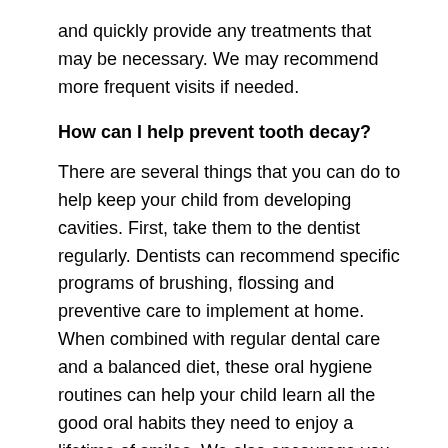and quickly provide any treatments that may be necessary. We may recommend more frequent visits if needed.
How can I help prevent tooth decay?
There are several things that you can do to help keep your child from developing cavities. First, take them to the dentist regularly. Dentists can recommend specific programs of brushing, flossing and preventive care to implement at home. When combined with regular dental care and a balanced diet, these oral hygiene routines can help your child learn all the good oral habits they need to enjoy a lifetime of smiles. We also encourage you to ask our dentist about sealants, fluoride and other professional preventive treatments.